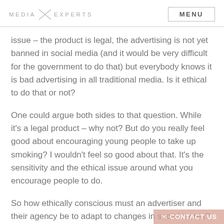MEDIA X EXPERTS   MENU
issue – the product is legal, the advertising is not yet banned in social media (and it would be very difficult for the government to do that) but everybody knows it is bad advertising in all traditional media. Is it ethical to do that or not?
One could argue both sides to that question. While it's a legal product – why not? But do you really feel good about encouraging young people to take up smoking? I wouldn't feel so good about that. It's the sensitivity and the ethical issue around what you encourage people to do.
So how ethically conscious must an advertiser and their agency be to adapt to changes in social mores? 10 years